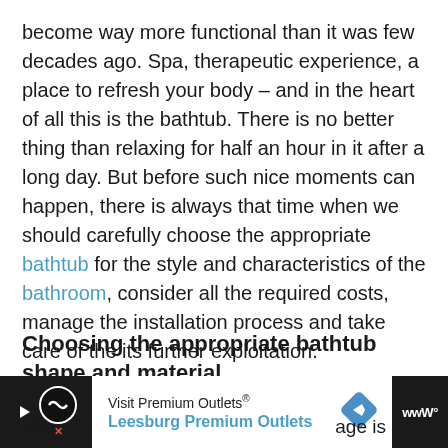become way more functional than it was few decades ago. Spa, therapeutic experience, a place to refresh your body – and in the heart of all this is the bathtub. There is no better thing than relaxing for half an hour in it after a long day. But before such nice moments can happen, there is always that time when we should carefully choose the appropriate bathtub for the style and characteristics of the bathroom, consider all the required costs, manage the installation process and take care of the its further exploitation.
Choosing the appropriate bathtub shape and material
[Figure (other): Advertisement banner for Visit Premium Outlets / Leesburg Premium Outlets with navigation arrow icon and Waze logo]
The age is